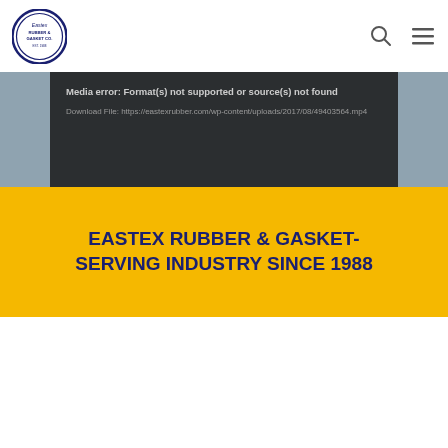[Figure (logo): Eastex Rubber & Gasket Co. circular logo with text and company name]
[Figure (other): Search icon (magnifying glass) and hamburger menu icon in header]
Media error: Format(s) not supported or source(s) not found
Download File: https://eastexrubber.com/wp-content/uploads/2017/08/49403564.mp4
EASTEX RUBBER & GASKET- SERVING INDUSTRY SINCE 1988